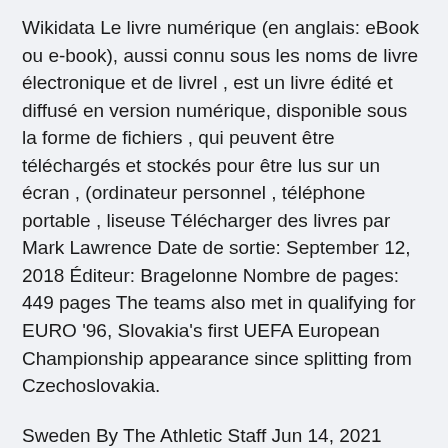Wikidata Le livre numérique (en anglais: eBook ou e-book), aussi connu sous les noms de livre électronique et de livrel , est un livre édité et diffusé en version numérique, disponible sous la forme de fichiers , qui peuvent être téléchargés et stockés pour être lus sur un écran , (ordinateur personnel , téléphone portable , liseuse Télécharger des livres par Mark Lawrence Date de sortie: September 12, 2018 Éditeur: Bragelonne Nombre de pages: 449 pages The teams also met in qualifying for EURO '96, Slovakia's first UEFA European Championship appearance since splitting from Czechoslovakia.
Sweden By The Athletic Staff Jun 14, 2021 Every matchday of Euro 2020, The Athletic's soccer writers will make · Poland vs Slovakia predictions Moneyline pick. Slovakia, on paper, have the formula to grind out a